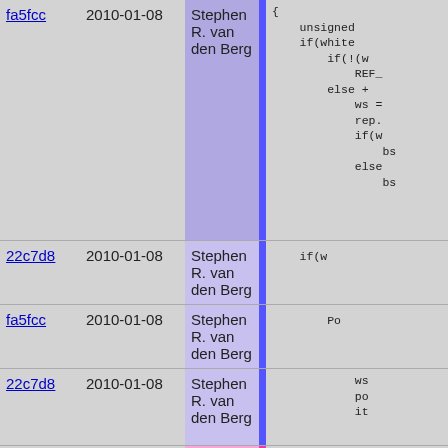| hash | date | author | code |
| --- | --- | --- | --- |
| fa5fcc | 2010-01-08 | Stephen R. van den Berg | {
    unsigned
    if(white
        if(!(w
            REF_
        else +
            ws =
            rep.
            if(w
                bs
            else
                bs |
| 22c7d8 | 2010-01-08 | Stephen R. van den Berg | if(w |
| fa5fcc | 2010-01-08 | Stephen R. van den Berg | Po |
| 22c7d8 | 2010-01-08 | Stephen R. van den Berg | ws
po
it |
| 4ce3db | 2010-01-11 | Jonas Wallden |  |
| fa5fcc | 2010-01-08 | Stephen R. van den Berg |  |
| f39c29 | 2010-01-11 | Stephen R. van den Berg |  |
| fa5fcc | 2010-01-08 | Stephen R. van den Berg |  |